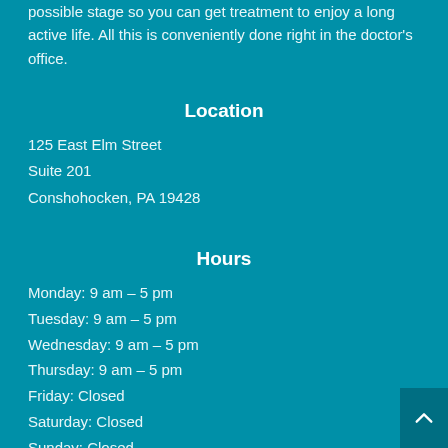possible stage so you can get treatment to enjoy a long active life. All this is conveniently done right in the doctor's office.
Location
125 East Elm Street
Suite 201
Conshohocken, PA 19428
Hours
Monday: 9 am – 5 pm
Tuesday: 9 am – 5 pm
Wednesday: 9 am – 5 pm
Thursday: 9 am – 5 pm
Friday: Closed
Saturday: Closed
Sunday: Closed